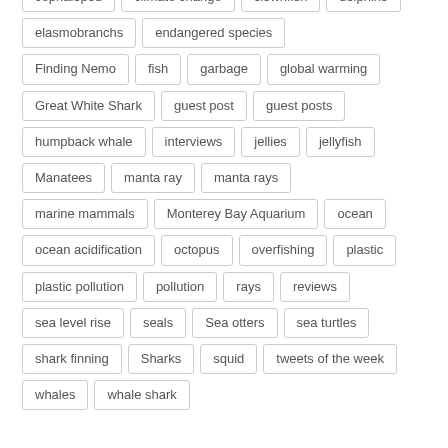cephalopod
climate change
clownfish
dolphins
elasmobranchs
endangered species
Finding Nemo
fish
garbage
global warming
Great White Shark
guest post
guest posts
humpback whale
interviews
jellies
jellyfish
Manatees
manta ray
manta rays
marine mammals
Monterey Bay Aquarium
ocean
ocean acidification
octopus
overfishing
plastic
plastic pollution
pollution
rays
reviews
sea level rise
seals
Sea otters
sea turtles
shark finning
Sharks
squid
tweets of the week
whales
whale shark